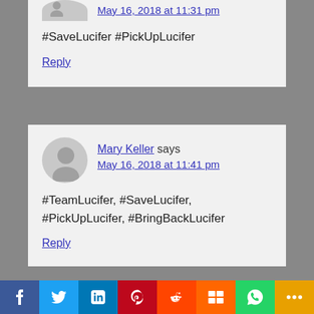May 16, 2018 at 11:31 pm
#SaveLucifer #PickUpLucifer
Reply
Mary Keller says
May 16, 2018 at 11:41 pm
#TeamLucifer, #SaveLucifer, #PickUpLucifer, #BringBackLucifer
Reply
[Figure (other): Social sharing bar with icons: Facebook, Twitter, LinkedIn, Pinterest, Reddit, Mix, WhatsApp, More]